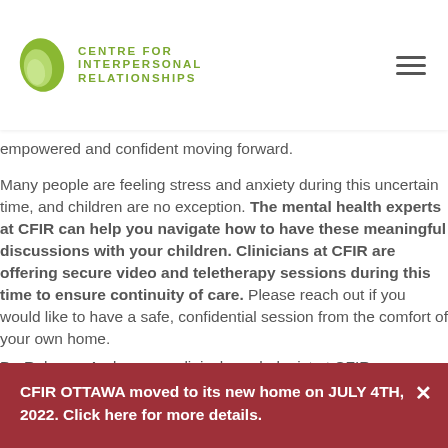[Figure (logo): Centre for Interpersonal Relationships logo with green leaf and text]
empowered and confident moving forward.
Many people are feeling stress and anxiety during this uncertain time, and children are no exception. The mental health experts at CFIR can help you navigate how to have these meaningful discussions with your children. Clinicians at CFIR are offering secure video and teletherapy sessions during this time to ensure continuity of care. Please reach out if you would like to have a safe, confidential session from the comfort of your own home.
Dr. Rebecca Anderson, a specialist and psychologist at CFIR
CFIR OTTAWA moved to its new home on JULY 4TH, 2022. Click here for more details.